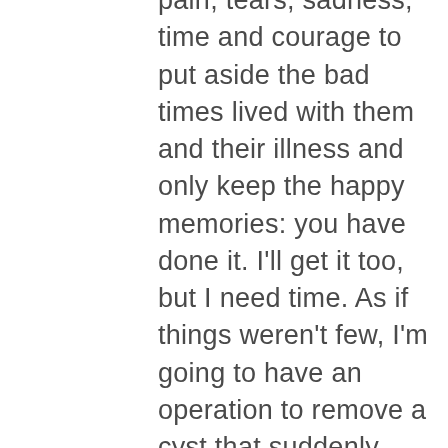pain, tears, sadness, time and courage to put aside the bad times lived with them and their illness and only keep the happy memories: you have done it. I'll get it too, but I need time. As if things weren't few, I'm going to have an operation to remove a cyst that suddenly appeared in my private parts at the beginning of July. On Monday the 10th I go to the Hospital to do the Preoperative tests. If they tell me the day of the operation, I'll let you know. The Gynecologist has told me that it is a very painful operation for at least three weeks, with a lot of inflammation, bleeding, very strong pain and safe infections due to a lot